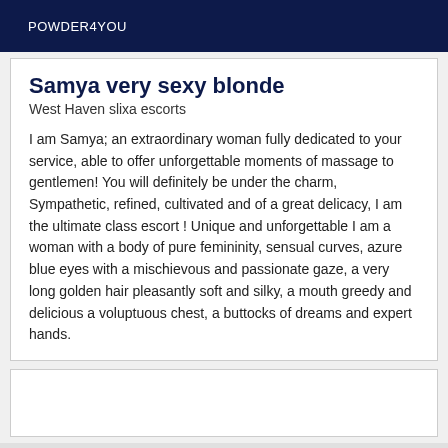POWDER4YOU
Samya very sexy blonde
West Haven slixa escorts
I am Samya; an extraordinary woman fully dedicated to your service, able to offer unforgettable moments of massage to gentlemen! You will definitely be under the charm, Sympathetic, refined, cultivated and of a great delicacy, I am the ultimate class escort ! Unique and unforgettable I am a woman with a body of pure femininity, sensual curves, azure blue eyes with a mischievous and passionate gaze, a very long golden hair pleasantly soft and silky, a mouth greedy and delicious a voluptuous chest, a buttocks of dreams and expert hands.